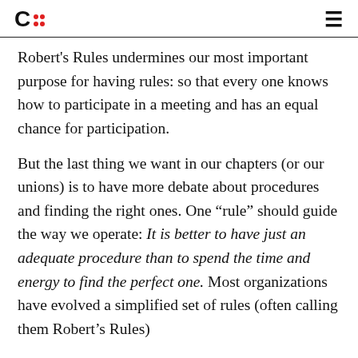C: [logo with red dots] [menu icon]
Robert's Rules undermines our most important purpose for having rules: so that every one knows how to participate in a meeting and has an equal chance for participation.
But the last thing we want in our chapters (or our unions) is to have more debate about procedures and finding the right ones. One “rule” should guide the way we operate: It is better to have just an adequate procedure than to spend the time and energy to find the perfect one. Most organizations have evolved a simplified set of rules (often calling them Robert’s Rules)